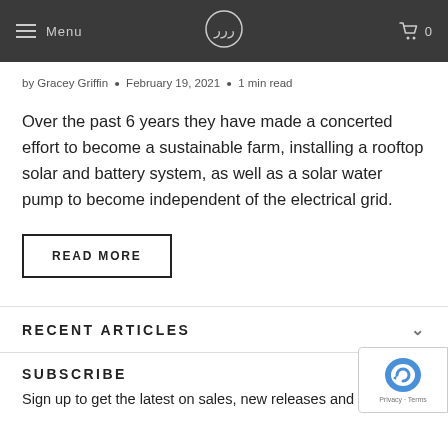Menu | [logo] | 0
by Gracey Griffin • February 19, 2021 • 1 min read
Over the past 6 years they have made a concerted effort to become a sustainable farm, installing a rooftop solar and battery system, as well as a solar water pump to become independent of the electrical grid.
READ MORE
RECENT ARTICLES
SUBSCRIBE
Sign up to get the latest on sales, new releases and